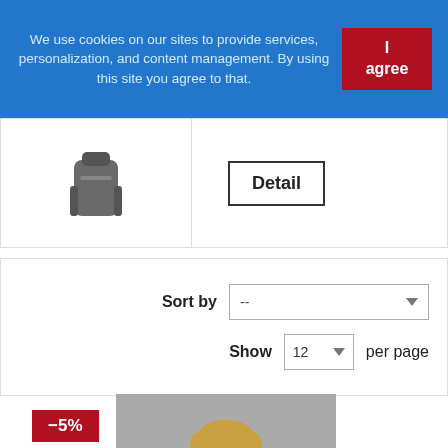We use cookies on our sites to provide services, personalization, and content management. By using this site you agree to that.
I agree
[Figure (photo): Backpack/bag product thumbnail image]
Detail
Sort by  --  (dropdown)
Show  12  per page
-5%
[Figure (photo): Young man wearing a red jacket, photographed against a grey background]